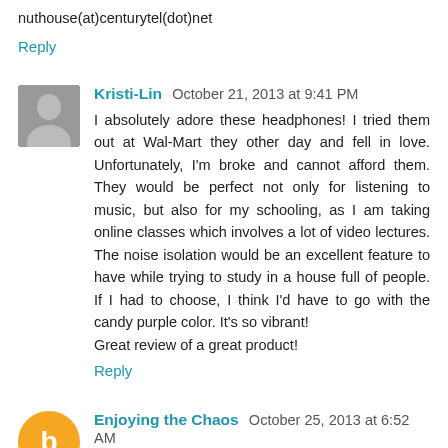nuthouse(at)centurytel(dot)net
Reply
Kristi-Lin  October 21, 2013 at 9:41 PM
I absolutely adore these headphones! I tried them out at Wal-Mart they other day and fell in love. Unfortunately, I'm broke and cannot afford them. They would be perfect not only for listening to music, but also for my schooling, as I am taking online classes which involves a lot of video lectures. The noise isolation would be an excellent feature to have while trying to study in a house full of people. If I had to choose, I think I'd have to go with the candy purple color. It's so vibrant!
Great review of a great product!
Reply
Enjoying the Chaos  October 25, 2013 at 6:52 AM
https://twitter.com/alhsjej/status/393721245784498176 - My twitter, and I think that's the one? :)